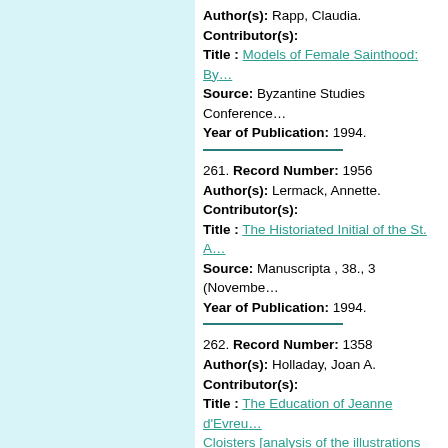Author(s): Rapp, Claudia. Contributor(s): Title: Models of Female Sainthood: By... Source: Byzantine Studies Conference. Year of Publication: 1994.
261. Record Number: 1956 Author(s): Lermack, Annette. Contributor(s): Title: The Historiated Initial of the St. A... Source: Manuscripta, 38., 3 (November... Year of Publication: 1994.
262. Record Number: 1358 Author(s): Holladay, Joan A. Contributor(s): Title: The Education of Jeanne d'Evreu... Cloisters [analysis of the illustrations in... portrayed as a model for the young que... Source: Art History, 17., 4 (December... Year of Publication: 1994.
263. Record Number: 11205 Author(s): Leyser, Conrad. Contributor(s): Title: Long-haired Kings and Short-hair... convent of St. John's, founded by Bisho...